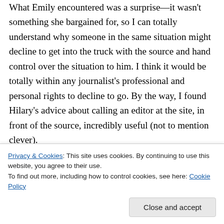What Emily encountered was a surprise—it wasn't something she bargained for, so I can totally understand why someone in the same situation might decline to get into the truck with the source and hand control over the situation to him. I think it would be totally within any journalist's professional and personal rights to decline to go. By the way, I found Hilary's advice about calling an editor at the site, in front of the source, incredibly useful (not to mention clever).
Emily's concerns over feeling unprepared for the
Privacy & Cookies: This site uses cookies. By continuing to use this website, you agree to their use.
To find out more, including how to control cookies, see here: Cookie Policy
preparation—if it's even possible to separate this